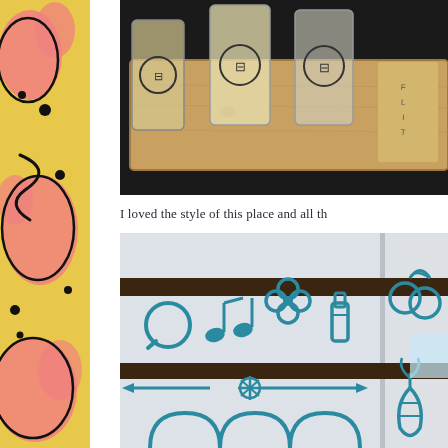[Figure (illustration): Left vertical decorative strip with pink and black organic blob/cow-print pattern on yellow background]
[Figure (photo): Beer flight on a wooden paddle with four glasses branded with a circular logo, photographed from above at a brewery]
I loved the style of this place and all th
[Figure (photo): Interior brewery wall mural with teal/blue line-art icons including music notes, flower, bottle, hops, and other brewing-related symbols on white paneled wall with dark wooden beams]